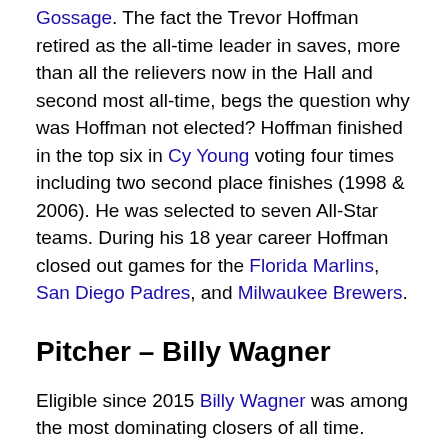Gossage. The fact the Trevor Hoffman retired as the all-time leader in saves, more than all the relievers now in the Hall and second most all-time, begs the question why was Hoffman not elected? Hoffman finished in the top six in Cy Young voting four times including two second place finishes (1998 & 2006). He was selected to seven All-Star teams. During his 18 year career Hoffman closed out games for the Florida Marlins, San Diego Padres, and Milwaukee Brewers.
Pitcher – Billy Wagner
Eligible since 2015 Billy Wagner was among the most dominating closers of all time. Wagner could and did strikeout anyone and everyone. He had three seasons where he struk out more than 14 batters per nine innings